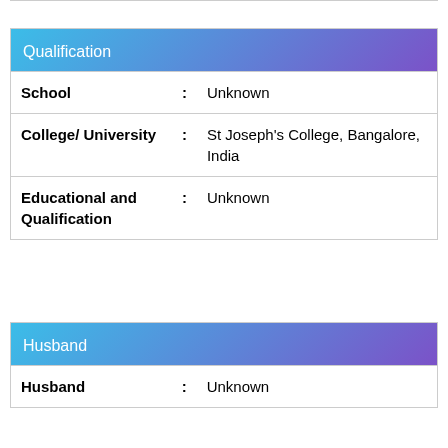Qualification
| School | : | Unknown |
| College/ University | : | St Joseph's College, Bangalore, India |
| Educational and Qualification | : | Unknown |
Husband
| Husband | : | Unknown |